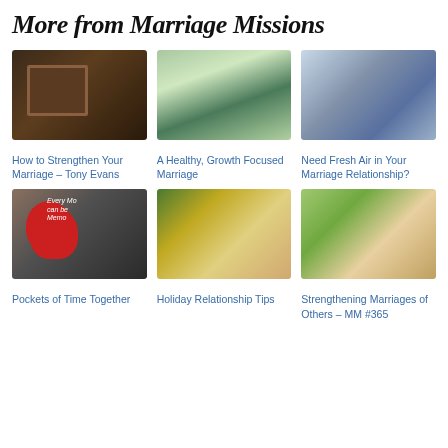More from Marriage Missions
[Figure (photo): Dark framed photo on wall]
[Figure (photo): Couple embracing outdoors]
[Figure (photo): Couple lying down relaxing]
How to Strengthen Your Marriage – Tony Evans
A Healthy, Growth Focused Marriage
Need Fresh Air in Your Marriage Relationship?
[Figure (photo): Red alarm clock with chalkboard text Every Mo... can be Memo...]
[Figure (photo): Couple near Christmas tree smiling]
[Figure (photo): Group of people stacking hands together]
Pockets of Time Together
Holiday Relationship Tips
Strengthening Marriages of Others – MM #365